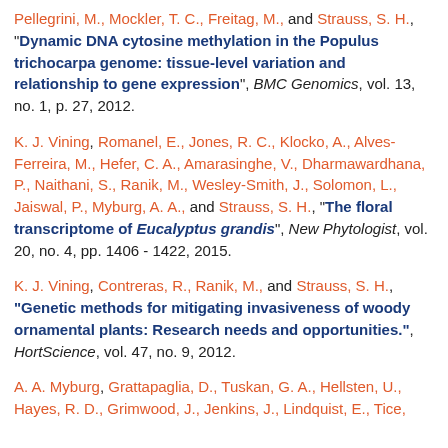Pellegrini, M., Mockler, T. C., Freitag, M., and Strauss, S. H., "Dynamic DNA cytosine methylation in the Populus trichocarpa genome: tissue-level variation and relationship to gene expression", BMC Genomics, vol. 13, no. 1, p. 27, 2012.
K. J. Vining, Romanel, E., Jones, R. C., Klocko, A., Alves-Ferreira, M., Hefer, C. A., Amarasinghe, V., Dharmawardhana, P., Naithani, S., Ranik, M., Wesley-Smith, J., Solomon, L., Jaiswal, P., Myburg, A. A., and Strauss, S. H., "The floral transcriptome of Eucalyptus grandis", New Phytologist, vol. 20, no. 4, pp. 1406 - 1422, 2015.
K. J. Vining, Contreras, R., Ranik, M., and Strauss, S. H., "Genetic methods for mitigating invasiveness of woody ornamental plants: Research needs and opportunities.", HortScience, vol. 47, no. 9, 2012.
A. A. Myburg, Grattapaglia, D., Tuskan, G. A., Hellsten, U., Hayes, R. D., Grimwood, J., Jenkins, J., Lindquist, E., Tice, ...